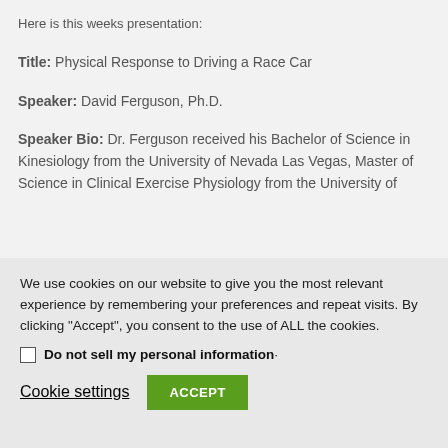Here is this weeks presentation:
Title: Physical Response to Driving a Race Car
Speaker: David Ferguson, Ph.D.
Speaker Bio: Dr. Ferguson received his Bachelor of Science in Kinesiology from the University of Nevada Las Vegas, Master of Science in Clinical Exercise Physiology from the University of
We use cookies on our website to give you the most relevant experience by remembering your preferences and repeat visits. By clicking “Accept”, you consent to the use of ALL the cookies.
Do not sell my personal information·
Cookie settings
ACCEPT